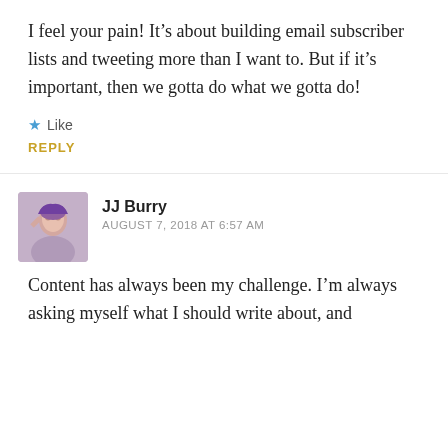I feel your pain! It’s about building email subscriber lists and tweeting more than I want to. But if it’s important, then we gotta do what we gotta do!
★ Like
REPLY
JJ Burry
AUGUST 7, 2018 AT 6:57 AM
Content has always been my challenge. I’m always asking myself what I should write about, and